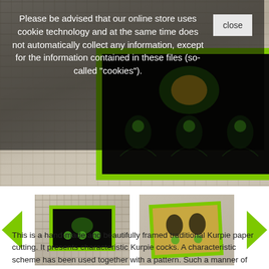[Figure (photo): Main product photo: a green-framed traditional Kurpie paper cutting artwork displayed on a white wicker chair, with a cookie consent overlay popup in the upper portion of the image.]
Please be advised that our online store uses cookie technology and at the same time does not automatically collect any information, except for the information contained in these files (so-called "cookies").
[Figure (photo): Thumbnail 1: green-framed Kurpie paper cutting artwork on white wicker chair background]
[Figure (photo): Thumbnail 2: green-framed Kurpie paper cutting artwork on tan/khaki surface, slightly angled]
This is a hand-made and beautifully framed traditional Kurpie paper cutting. It presents characteristic Kurpie cocks. A characteristic scheme has been used together with a pattern. Such a manner of assembling